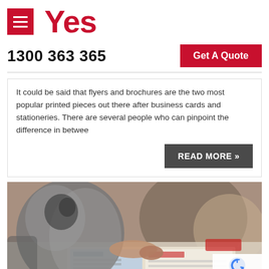Yes
1300 363 365
Get A Quote
It could be said that flyers and brochures are the two most popular printed pieces out there after business cards and stationeries.  There are several people who can pinpoint the difference in betwee
READ MORE »
[Figure (photo): Person leafing through a printed brochure or magazine at a table, with another person visible in the background. A reCAPTCHA badge appears in the bottom-right corner with Privacy and Terms links.]